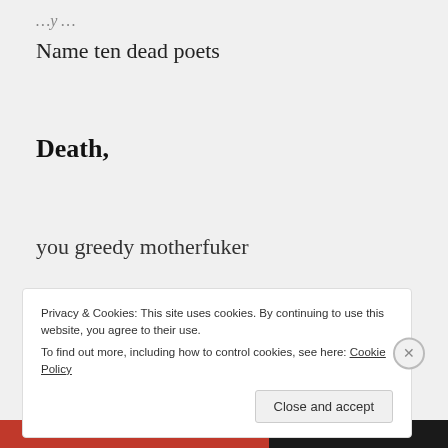Name ten dead poets
Death,
you greedy motherfuker
Privacy & Cookies: This site uses cookies. By continuing to use this website, you agree to their use.
To find out more, including how to control cookies, see here: Cookie Policy
Close and accept